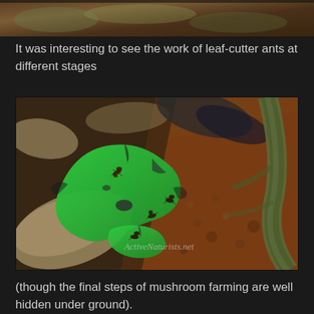[Figure (photo): Partial view of leaf-cutter ants on forest floor debris, top crop of image]
It was interesting to see the work of leaf-cutter ants at different stages
[Figure (photo): Close-up photograph of leaf-cutter ants cutting and carrying bright green leaf fragments on a forest floor covered with dead leaves, soil and a root. Watermark reads 'ActiveNaturists.net']
(though the final steps of mushroom farming are well hidden under ground).